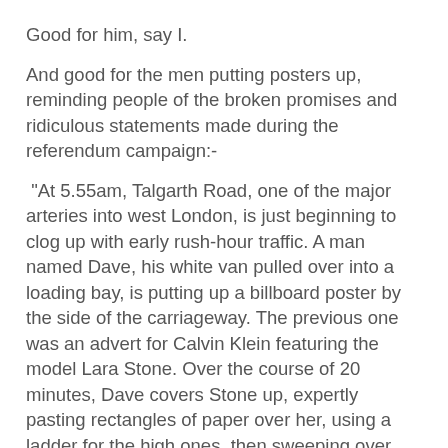Good for him, say I.
And good for the men putting posters up, reminding people of the broken promises and ridiculous statements made during the referendum campaign:-
“At 5.55am, Talgarth Road, one of the major arteries into west London, is just beginning to clog up with early rush-hour traffic. A man named Dave, his white van pulled over into a loading bay, is putting up a billboard poster by the side of the carriageway. The previous one was an advert for Calvin Klein featuring the model Lara Stone. Over the course of 20 minutes, Dave covers Stone up, expertly pasting rectangles of paper over her, using a ladder for the high ones, then sweeping over with his brush.
The first rectangle, in the top left corner, contains a headshot of Jacob Rees-Mogg and the beginning of his Twitter handle. As Dave lines up edges, pastes and brushes, and Stone disappears, a quote emerges from Rees-Mogg. This one wasn’t a tweet; he said it in parliament. “We could have two